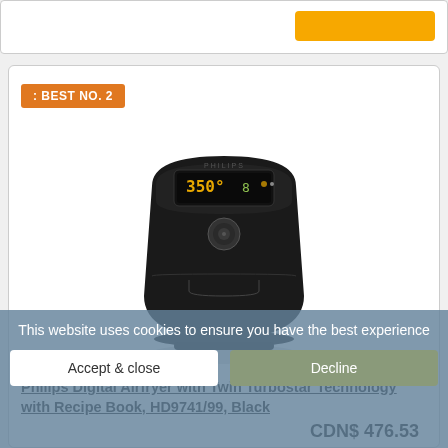[Figure (screenshot): Top strip of a webpage showing a truncated product card with a yellow/orange button on the right.]
BEST NO. 2
[Figure (photo): Philips Digital Air Fryer product photo - black air fryer with digital display showing 350 degrees, on white background.]
Philips Digital Airfryer with Twin Turbostar Technology with Recipe Book, HD9741/99, Black
CDN$ 476.53
View on Amazon
This website uses cookies to ensure you have the best experience
Accept & close
Decline